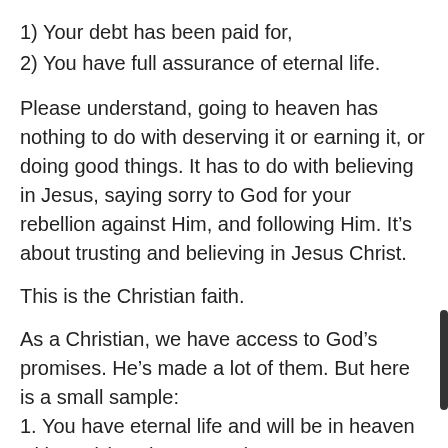1) Your debt has been paid for,
2) You have full assurance of eternal life.
Please understand, going to heaven has nothing to do with deserving it or earning it, or doing good things. It has to do with believing in Jesus, saying sorry to God for your rebellion against Him, and following Him. It's about trusting and believing in Jesus Christ.
This is the Christian faith.
As a Christian, we have access to God’s promises. He’s made a lot of them. But here is a small sample:
1. You have eternal life and will be in heaven with God (1 John 5:11-12)
2. You become a child of God (Eph 1:5)
3. You will never be alone (John 14:16; Heb 13:6)